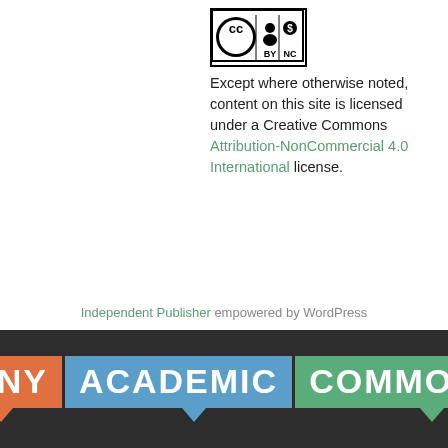[Figure (logo): Creative Commons Attribution-NonCommercial license icon with CC BY NC symbols]
Except where otherwise noted, content on this site is licensed under a Creative Commons Attribution-NonCommercial 4.0 International license.
Independent Publisher empowered by WordPress
[Figure (logo): CUNY Academic Commons logo with three colored blocks: orange CUNY, blue ACADEMIC, green COMMONS on dark background]